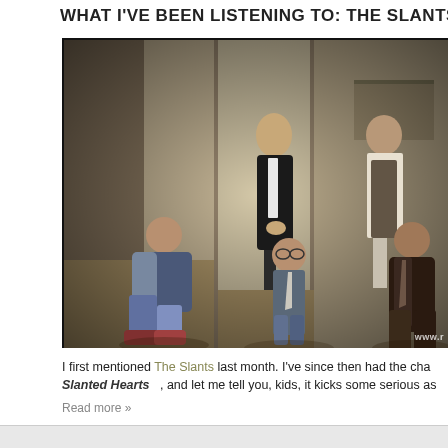WHAT I'VE BEEN LISTENING TO: THE SLANTS
[Figure (photo): Group photo of The Slants band, five members posed in a room with bare walls, two standing in back and three crouching/sitting in front. Watermark 'www.r...' in bottom right corner.]
I first mentioned The Slants last month. I've since then had the cha... Slanted Hearts , and let me tell you, kids, it kicks some serious as...
Read more »